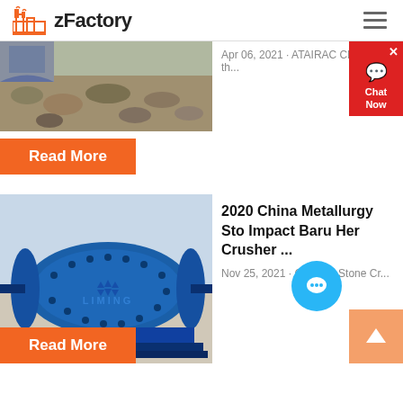zFactory
[Figure (photo): Overhead view of gravel/crushed stone material on ground, partial view at top of page]
Apr 06, 2021 · ATAIRAC China is th...
Read More
[Figure (photo): Blue Liming brand ball mill machine outdoors, large cylindrical grinding equipment on a stand]
2020 China Metallurgy Sto Impact Baru H er Crusher ...
Nov 25, 2021 · Crusher, Stone Cr...
Read More